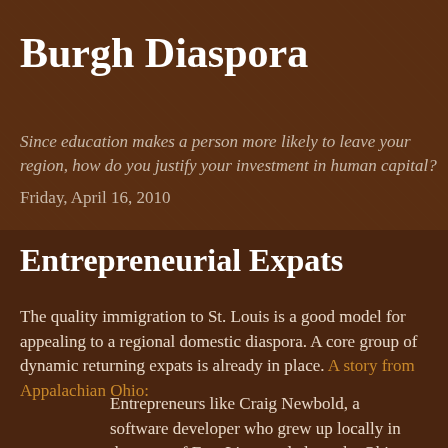Burgh Diaspora
Since education makes a person more likely to leave your region, how do you justify your investment in human capital?
Friday, April 16, 2010
Entrepreneurial Expats
The quality immigration to St. Louis is a good model for appealing to a regional domestic diaspora. A core group of dynamic returning expats is already in place. A story from Appalachian Ohio:
Entrepreneurs like Craig Newbold, a software developer who grew up locally in the town of East Liverpool along the Ohio River between Youngstown and Pittsburgh, are betting on the